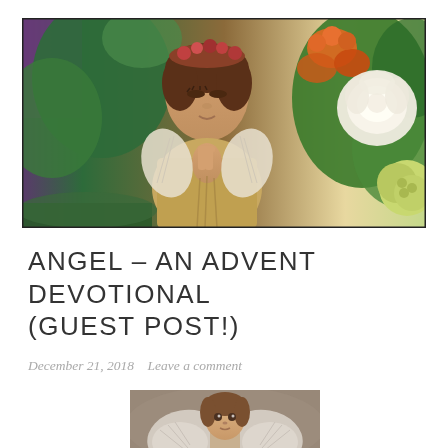[Figure (photo): A cherub angel figurine with closed eyes and hands clasped in prayer, wearing a flower crown, surrounded by colorful flowers including white roses and orange blooms against green foliage.]
ANGEL – AN ADVENT DEVOTIONAL (GUEST POST!)
December 21, 2018   Leave a comment
[Figure (photo): A young girl dressed as an angel with white feathered wings, brown hair, looking at the camera.]